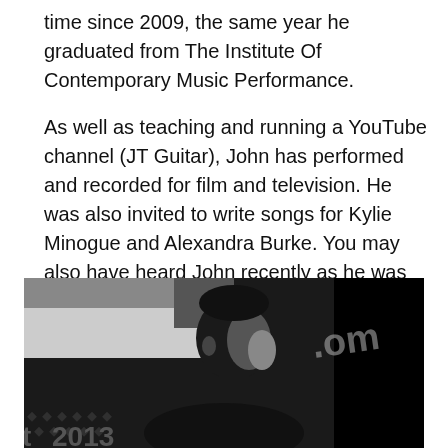time since 2009, the same year he graduated from The Institute Of Contemporary Music Performance.

As well as teaching and running a YouTube channel (JT Guitar), John has performed and recorded for film and television. He was also invited to write songs for Kylie Minogue and Alexandra Burke. You may also have heard John recently as he was the “Lead Ukulele Player” on Lupas Film’s We’re Going On A Bear Hunt. A Channel 4 Film adaption of the book by Michael Rosen.
[Figure (photo): Black and white photo of a man in profile/side view, with text overlay showing partial '.com' and '2013', with decorative dots pattern in the lower left area.]